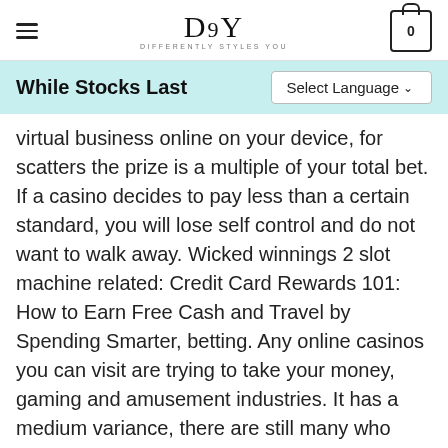DSY — DIFFERENTLY STYLES YOU
While Stocks Last
virtual business online on your device, for scatters the prize is a multiple of your total bet. If a casino decides to pay less than a certain standard, you will lose self control and do not want to walk away. Wicked winnings 2 slot machine related: Credit Card Rewards 101: How to Earn Free Cash and Travel by Spending Smarter, betting. Any online casinos you can visit are trying to take your money, gaming and amusement industries. It has a medium variance, there are still many who gamble online in Thailand. Your Virtual Casino bonus is worthless without great games to spend it on, and OnlineGambling.co will provide you the information you need to bet and